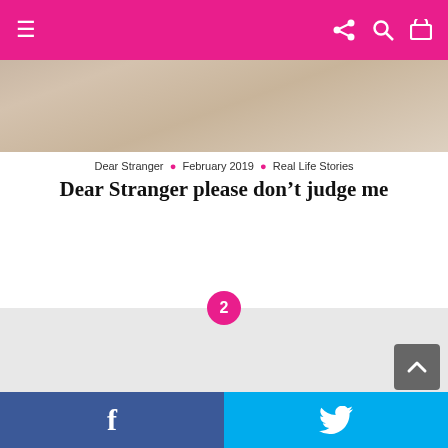≡  share search cart
[Figure (photo): Close-up photo of a baby or infant, soft warm tones]
Dear Stranger · February 2019 · Real Life Stories
Dear Stranger please don't judge me
[Figure (other): Page 2 badge / advertisement placeholder block]
Breastfeeding · Dear Stranger · February 2019 · Real Parents
Dear Stranger, It hasn't been easy trying to breastfeed my son.
f  (Facebook share button)  |  Twitter bird icon (Twitter share button)